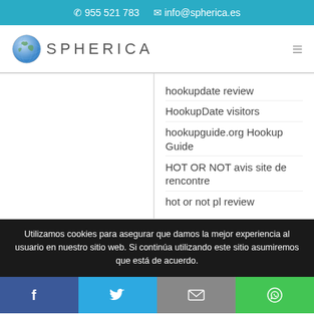955 521 783   info@spherica.es
[Figure (logo): Spherica globe logo with brand name SPHERICA]
hookupdate review
HookupDate visitors
hookupguide.org Hookup Guide
HOT OR NOT avis site de rencontre
hot or not pl review
Utilizamos cookies para asegurar que damos la mejor experiencia al usuario en nuestro sitio web. Si continúa utilizando este sitio asumiremos que está de acuerdo.
Facebook Twitter Email WhatsApp